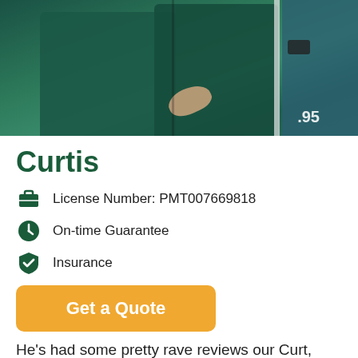[Figure (photo): Two people wearing dark green long-sleeve shirts standing near a green vehicle. One person appears to be gesturing with their hand. The number .95 is visible on the vehicle.]
Curtis
License Number: PMT007669818
On-time Guarantee
Insurance
Get a Quote
He's had some pretty rave reviews our Curt, he's one of Brisbane's finest! Book him once you'll book